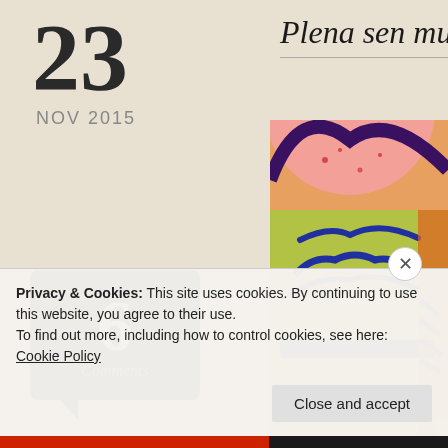23
NOV 2015
6
Comments
Plena sen mu vokaro
[Figure (photo): Close-up photo of a colorful painting or drawing showing a face with blue lines on green/yellow background, with orange and pink areas, resembling folk or naive art style.]
Privacy & Cookies: This site uses cookies. By continuing to use this website, you agree to their use.
To find out more, including how to control cookies, see here: Cookie Policy
Close and accept